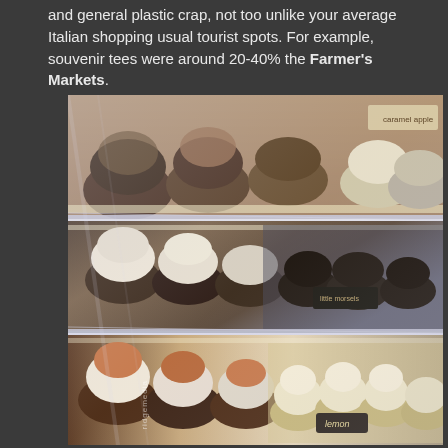and general plastic crap, not too unlike your average Italian shopping usual tourist spots. For example, souvenir tees were around 20-40% the Farmer's Markets.
[Figure (photo): A bakery display case showing multiple shelves of cupcakes and baked goods. The top shelf has large cupcakes with various toppings including what appears to be caramel apple. The middle shelf shows chocolate cupcakes with white frosting and dark chocolate cupcakes. The bottom shelf features chocolate cupcakes with swirled frosting on the left and lemon cupcakes with white frosting on the right, with a 'lemon' label sign visible.]